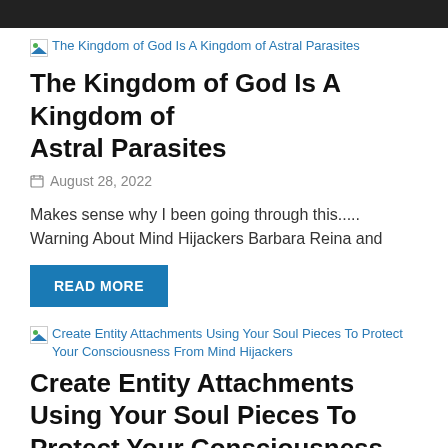[Figure (screenshot): Broken image placeholder with alt text link: The Kingdom of God Is A Kingdom of Astral Parasites]
The Kingdom of God Is A Kingdom of Astral Parasites
August 28, 2022
Makes sense why I been going through this..... Warning About Mind Hijackers Barbara Reina and
READ MORE
[Figure (screenshot): Broken image placeholder with alt text link: Create Entity Attachments Using Your Soul Pieces To Protect Your Consciousness From Mind Hijackers]
Create Entity Attachments Using Your Soul Pieces To Protect Your Consciousness From Mind Hijackers